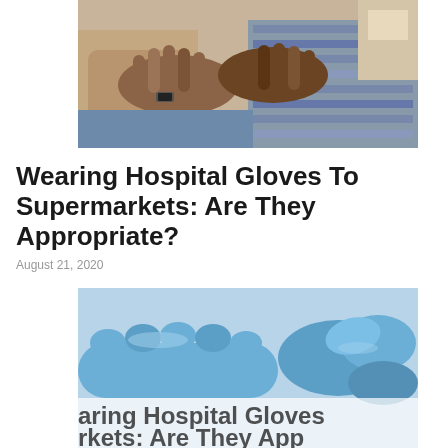[Figure (photo): Two people seated, pressing palms together in a hand-washing or prayer gesture, wearing casual clothes, in an indoor setting.]
Wearing Hospital Gloves To Supermarkets: Are They Appropriate?
August 21, 2020
[Figure (photo): A hand wearing a blue medical/hospital glove against a light blue background, with partially visible text overlay reading 'aring Hospital Gloves' and 'rkets: Are They App'.]